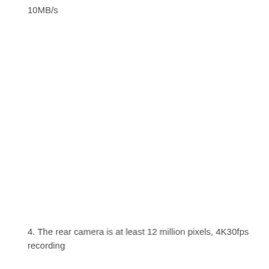10MB/s
4. The rear camera is at least 12 million pixels, 4K30fps recording